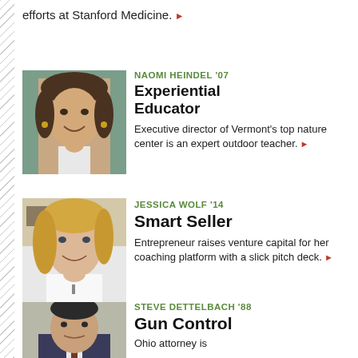efforts at Stanford Medicine. ▶
[Figure (photo): Headshot of Naomi Heindel, a woman with dark hair, smiling, wearing a white sleeveless top, outdoors]
NAOMI HEINDEL '07
Experiential Educator
Executive director of Vermont's top nature center is an expert outdoor teacher. ▶
[Figure (photo): Headshot of Jessica Wolf, a blonde woman smiling, wearing a white top, indoors]
JESSICA WOLF '14
Smart Seller
Entrepreneur raises venture capital for her coaching platform with a slick pitch deck. ▶
[Figure (photo): Headshot of Steve Dettelbach, a man in a suit, professional portrait]
STEVE DETTELBACH '88
Gun Control
Ohio attorney is